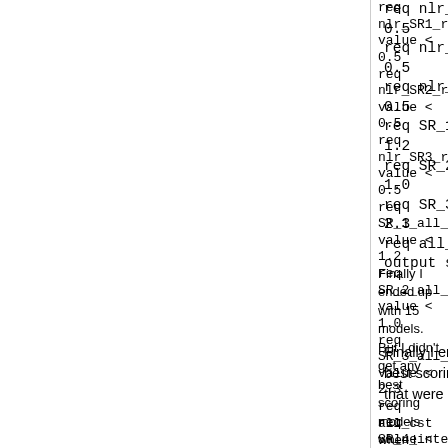req nlr_SR1_rms value < 0.5
req nlr_SR2_rms value < 0.5
req nlr_SR3_rms value < 0.5
req SR_1_all_cst value < 1.2
req SR_2_all_cst value < 1.0
req SR_3_all_cst value < 2.3
req all_cst value < 6.5
output sortmin all_cst
Finally I ended up with 15 models. But I didn't get any best scoring models when I included the following score that were used in the tutorial :-
req SR_4_interf_E_1_2 value < -8.5 . The smallest